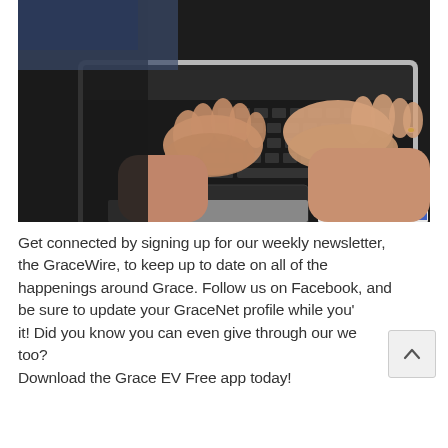[Figure (photo): Overhead view of a person's hands typing on a silver MacBook laptop keyboard, on a dark surface, with colorful items partially visible at the bottom right.]
Get connected by signing up for our weekly newsletter, the GraceWire, to keep up to date on all of the happenings around Grace. Follow us on Facebook, and be sure to update your GraceNet profile while you're at it! Did you know you can even give through our website too?
Download the Grace EV Free app today!